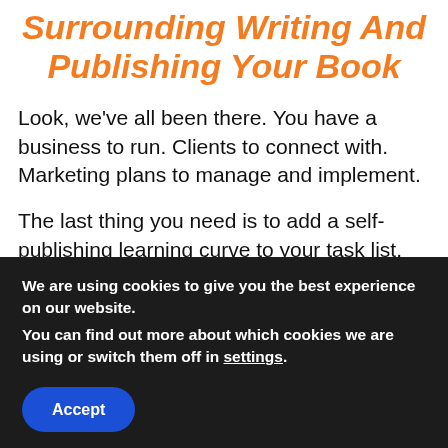Surrounding Writing And Publishing Your Book
Look, we’ve all been there. You have a business to run. Clients to connect with. Marketing plans to manage and implement.
The last thing you need is to add a self-publishing learning curve to your task list.
But I’m here to tell you, if you don’t tackle this job, your
We are using cookies to give you the best experience on our website.
You can find out more about which cookies we are using or switch them off in settings.
Accept